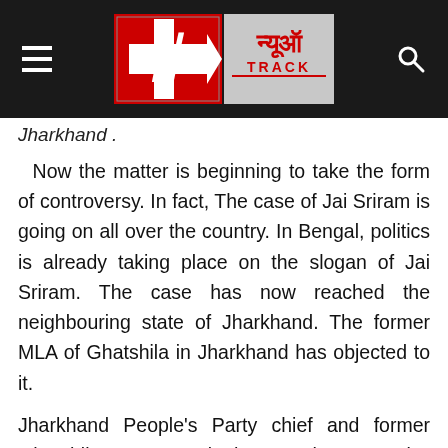[Figure (logo): News Track logo with Hindi text न्यूज़ TRACK on dark background header bar with hamburger menu and search icon]
Jharkhand .
Now the matter is beginning to take the form of controversy. In fact, The case of Jai Sriram is going on all over the country. In Bengal, politics is already taking place on the slogan of Jai Sriram. The case has now reached the neighbouring state of Jharkhand. The former MLA of Ghatshila in Jharkhand has objected to it.
Jharkhand People's Party chief and former Ghatshila MLA Sur Singh Besra has posted a warning from his official Facebook account. "Speak Jai Jharkhand, speak Jai Sriram, speak Jai Sriram, leave Jharkhand."